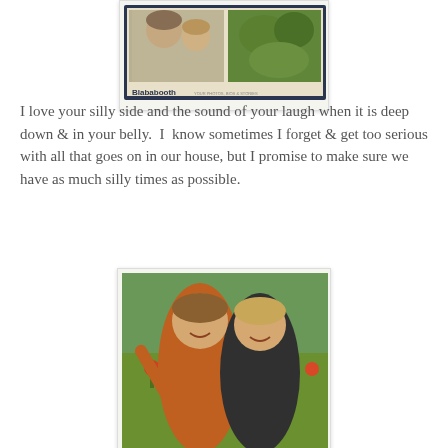[Figure (photo): Photo booth strip showing a woman and a young child making silly faces, with a garden photo, and the Blababooth logo at the bottom]
I love your silly side and the sound of your laugh when it is deep down & in your belly.  I  know sometimes I forget & get too serious with all that goes on in our house, but I promise to make sure we have as much silly times as possible.
[Figure (photo): Two young boys hugging and smiling outdoors with colorful flowers in the background]